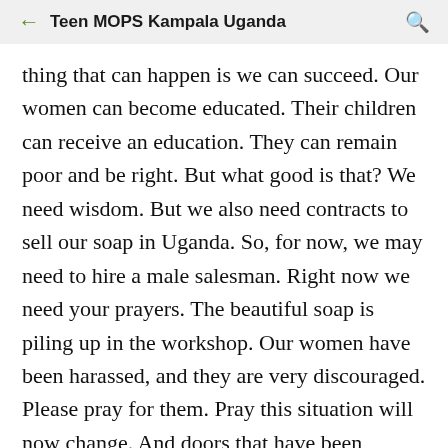Teen MOPS Kampala Uganda
thing that can happen is we can succeed.  Our women can become educated.  Their children can receive an education.  They can remain poor and be right.  But what good is that?  We need wisdom.  But we also need contracts to sell our soap in Uganda.  So, for now, we may need to hire a male salesman.  Right now we need your prayers.  The beautiful soap is piling up in the workshop.  Our women have been harassed, and they are very discouraged.  Please pray for them.  Pray this situation will now change.  And doors that have been closed, will now be open.  I'm sure